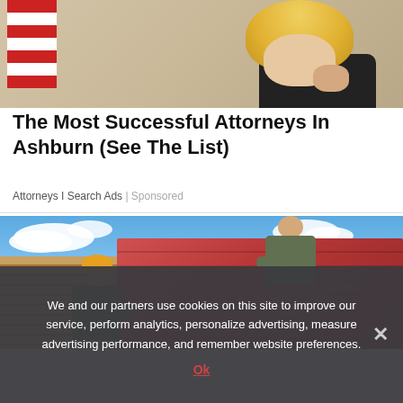[Figure (photo): Photo of a woman with blond hair near an American flag, appearing to be in a courtroom or official setting]
The Most Successful Attorneys In Ashburn (See The List)
Attorneys I Search Ads | Sponsored
[Figure (photo): Two workers in camouflage clothing installing red roof tiles on a building, one wearing a yellow hard hat]
We and our partners use cookies on this site to improve our service, perform analytics, personalize advertising, measure advertising performance, and remember website preferences.
Ok